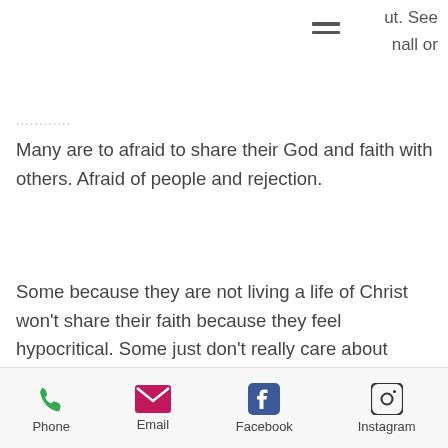ut. See
nall or
Many are to afraid to share their God and faith with others. Afraid of people and rejection.
Some because they are not living a life of Christ won't share their faith because they feel hypocritical. Some just don't really care about others.
Think about this. A life will die alone, broken, bruised, damaged and bitter and we have the answer for freedom, hope, love, power, healing, fixed, forgiven, together. We have the keys to Life.
Phone  Email  Facebook  Instagram